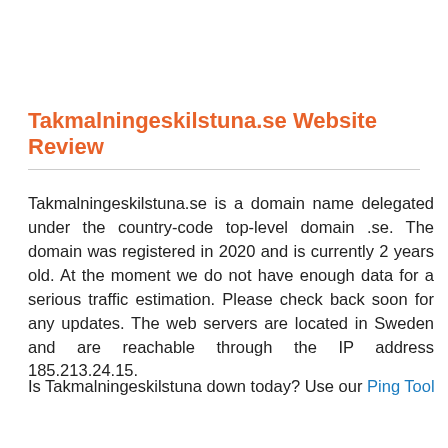Takmalningeskilstuna.se Website Review
Takmalningeskilstuna.se is a domain name delegated under the country-code top-level domain .se. The domain was registered in 2020 and is currently 2 years old. At the moment we do not have enough data for a serious traffic estimation. Please check back soon for any updates. The web servers are located in Sweden and are reachable through the IP address 185.213.24.15.
Is Takmalningeskilstuna down today? Use our Ping Tool